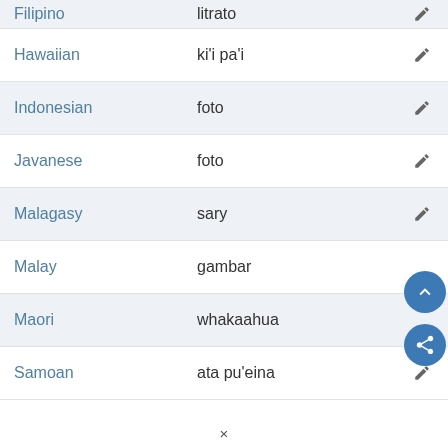| Language | Translation |  |
| --- | --- | --- |
| Filipino | litrato |  |
| Hawaiian | ki'i pa'i |  |
| Indonesian | foto |  |
| Javanese | foto |  |
| Malagasy | sary |  |
| Malay | gambar |  |
| Maori | whakaahua |  |
| Samoan | ata pu'eina |  |
×